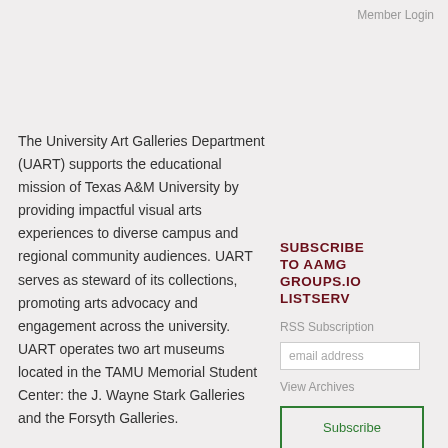Member Login
The University Art Galleries Department (UART) supports the educational mission of Texas A&M University by providing impactful visual arts experiences to diverse campus and regional community audiences. UART serves as steward of its collections, promoting arts advocacy and engagement across the university. UART operates two art museums located in the TAMU Memorial Student Center: the J. Wayne Stark Galleries and the Forsyth Galleries.
Job Description: The
SUBSCRIBE TO AAMG GROUPS.IO LISTSERV
RSS Subscription
email address
View Archives
Subscribe
JOIN US FOR #AAMG2022